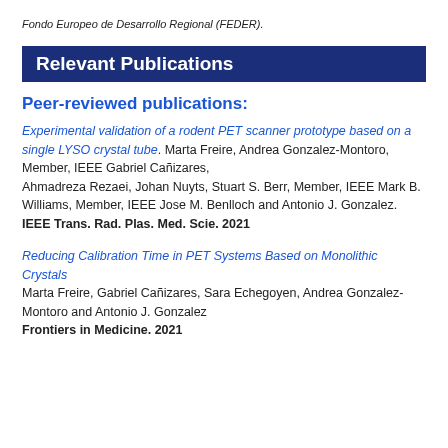Fondo Europeo de Desarrollo Regional (FEDER).
Relevant Publications
Peer-reviewed publications:
Experimental validation of a rodent PET scanner prototype based on a single LYSO crystal tube. Marta Freire, Andrea Gonzalez-Montoro, Member, IEEE Gabriel Cañizares, Ahmadreza Rezaei, Johan Nuyts, Stuart S. Berr, Member, IEEE Mark B. Williams, Member, IEEE Jose M. Benlloch and Antonio J. Gonzalez. IEEE Trans. Rad. Plas. Med. Scie. 2021
Reducing Calibration Time in PET Systems Based on Monolithic Crystals Marta Freire, Gabriel Cañizares, Sara Echegoyen, Andrea Gonzalez-Montoro and Antonio J. Gonzalez Frontiers in Medicine. 2021